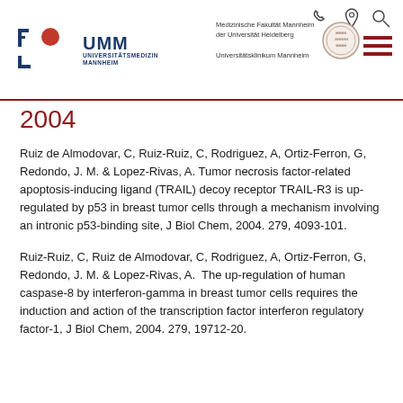UMM UNIVERSITÄTSMEDIZIN MANNHEIM | Medizinische Fakultät Mannheim der Universität Heidelberg | Universitätsklinikum Mannheim
2004
Ruiz de Almodovar, C, Ruiz-Ruiz, C, Rodriguez, A, Ortiz-Ferron, G, Redondo, J. M. & Lopez-Rivas, A. Tumor necrosis factor-related apoptosis-inducing ligand (TRAIL) decoy receptor TRAIL-R3 is up-regulated by p53 in breast tumor cells through a mechanism involving an intronic p53-binding site, J Biol Chem, 2004. 279, 4093-101.
Ruiz-Ruiz, C, Ruiz de Almodovar, C, Rodriguez, A, Ortiz-Ferron, G, Redondo, J. M. & Lopez-Rivas, A.  The up-regulation of human caspase-8 by interferon-gamma in breast tumor cells requires the induction and action of the transcription factor interferon regulatory factor-1, J Biol Chem, 2004. 279, 19712-20.